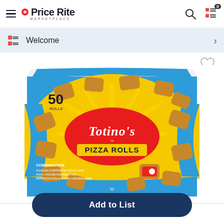Price Rite MARKETPLACE
Welcome
[Figure (photo): Totino's Pizza Rolls Combination flavor, 50 rolls bag, yellow and blue packaging with pizza rolls shown]
Add to List